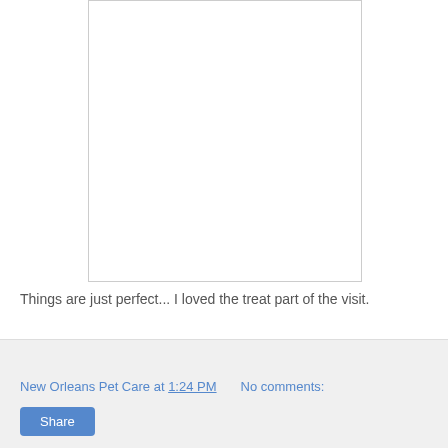[Figure (other): A mostly blank white image box with a thin gray border, appearing to be a placeholder or empty image area.]
Things are just perfect...  I loved the treat part of the visit.
New Orleans Pet Care at 1:24 PM    No comments:
Share